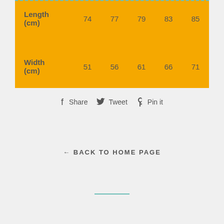|  |  |  |  |  |  |
| --- | --- | --- | --- | --- | --- |
| Length (cm) | 74 | 77 | 79 | 83 | 85 |
| Width (cm) | 51 | 56 | 61 | 66 | 71 |
Share  Tweet  Pin it
← BACK TO HOME PAGE